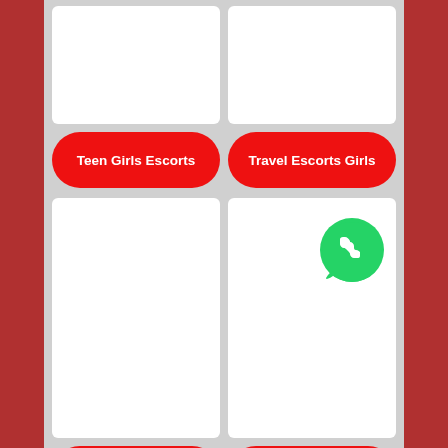[Figure (other): White card placeholder image top-left]
[Figure (other): White card placeholder image top-right]
Teen Girls Escorts
Travel Escorts Girls
[Figure (other): White card placeholder image bottom-left]
[Figure (other): White card with WhatsApp icon overlay bottom-right]
Dating Girls Escorts
Erotic Massage